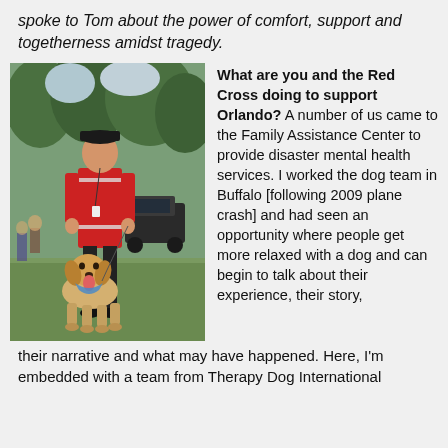spoke to Tom about the power of comfort, support and togetherness amidst tragedy.
[Figure (photo): A Red Cross volunteer in a red vest standing on grass with a golden retriever therapy dog. Trees and a vehicle are visible in the background.]
What are you and the Red Cross doing to support Orlando? A number of us came to the Family Assistance Center to provide disaster mental health services. I worked the dog team in Buffalo [following 2009 plane crash] and had seen an opportunity where people get more relaxed with a dog and can begin to talk about their experience, their story, their narrative and what may have happened. Here, I'm embedded with a team from Therapy Dog International
their narrative and what may have happened. Here, I'm embedded with a team from Therapy Dog International